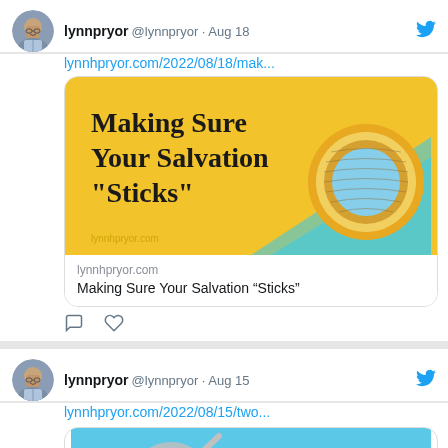lynnpryor @lynnpryor · Aug 18
lynnhpryor.com/2022/08/18/mak...
[Figure (screenshot): Blog post preview card showing 'Making Sure Your Salvation "Sticks"' on yellow background with a roll of yellow tape on teal. Domain: lynnhpryor.com]
Making Sure Your Salvation “Sticks”
[Figure (other): Comment and like/heart icons]
lynnpryor @lynnpryor · Aug 15
lynnhpryor.com/2022/08/15/two...
[Figure (screenshot): Blog post preview image showing 'Two Clear Ways People...' on blue background with magnifying glass]